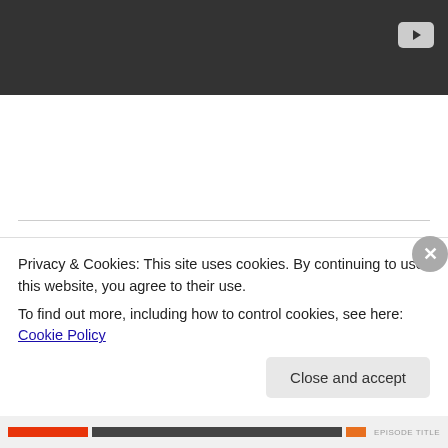[Figure (screenshot): Dark video thumbnail area with YouTube play button icon in top right]
Share this:
[Figure (infographic): Row of social sharing icons: email (grey), Facebook (blue), Twitter (light blue), Pinterest (red), Print (grey)]
Privacy & Cookies: This site uses cookies. By continuing to use this website, you agree to their use.
To find out more, including how to control cookies, see here: Cookie Policy
Close and accept